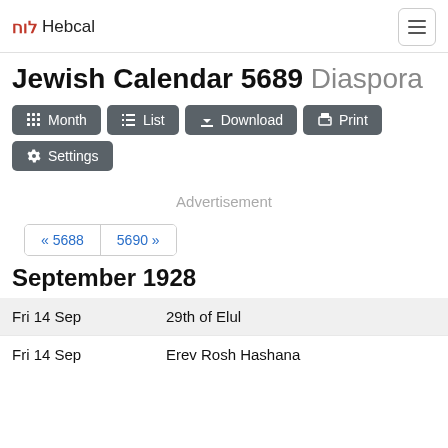לוח Hebcal
Jewish Calendar 5689 Diaspora
Month | List | Download | Print | Settings
Advertisement
« 5688   5690 »
September 1928
| Date | Event |
| --- | --- |
| Fri 14 Sep | 29th of Elul |
| Fri 14 Sep | Erev Rosh Hashana |